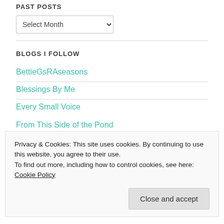PAST POSTS
[Figure (screenshot): Select Month dropdown input]
BLOGS I FOLLOW
BettieGsRAseasons
Blessings By Me
Every Small Voice
Privacy & Cookies: This site uses cookies. By continuing to use this website, you agree to their use.
To find out more, including how to control cookies, see here: Cookie Policy
From This Side of the Pond